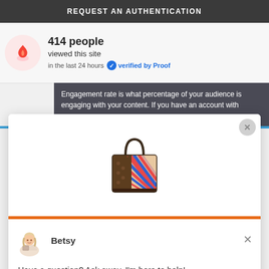REQUEST AN AUTHENTICATION
414 people
viewed this site
in the last 24 hours   verified by Proof
Engagement rate is what percentage of your audience is engaging with your content. If you have an account with
[Figure (screenshot): A brown leather tote bag with colorful striped (pink, blue, red) pattern on front, shown on white background in a modal popup]
Betsy
Have a question? Ask away, I'm here to help!
Reply to Betsy
Chat ⚡ by Drift